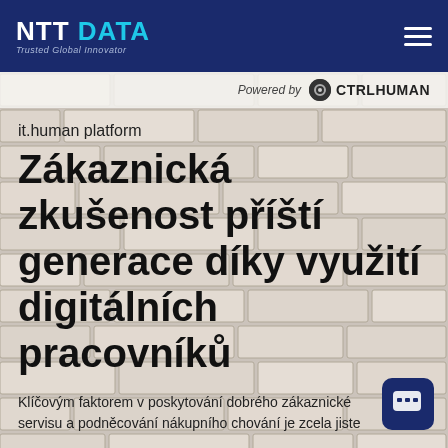NTT DATA — Trusted Global Innovator
Powered by CTRLHUMAN
it.human platform
Zákaznická zkušenost příští generace díky využití digitálních pracovníků
Klíčovým faktorem v poskytování dobrého zákaznického servisu a podněcování nákupního chování je zcela jiste